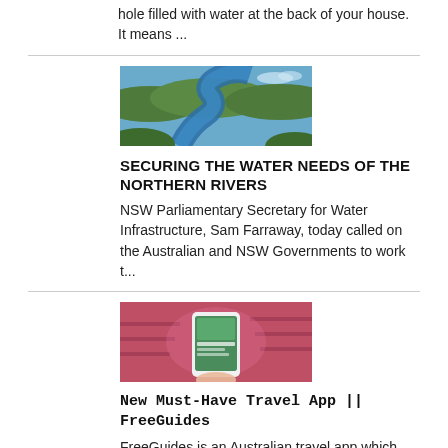hole filled with water at the back of your house. It means ...
[Figure (photo): Aerial view of a winding river through green landscape]
SECURING THE WATER NEEDS OF THE NORTHERN RIVERS
NSW Parliamentary Secretary for Water Infrastructure, Sam Farraway, today called on the Australian and NSW Governments to work t...
[Figure (photo): Person holding a smartphone showing a travel app, with pink-lit market stall in background]
New Must-Have Travel App || FreeGuides
FreeGuides is an Australian travel app which allows users to explore